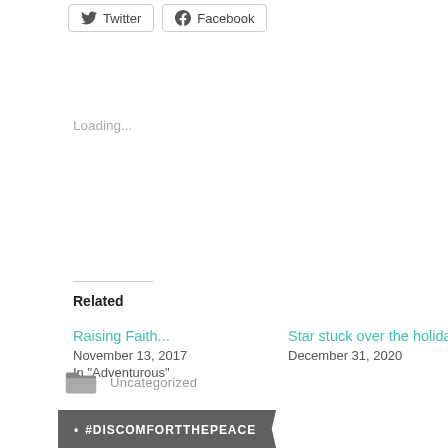Twitter  Facebook (social share buttons)
Loading...
Related
Raising Faith...
November 13, 2017
In "Adventurous"
Star stuck over the holidays
December 31, 2020
Protect yourself
September 23, 2018
In "Beliefs and Church"
Uncategorized
#DISCOMFORTTHEPEACE